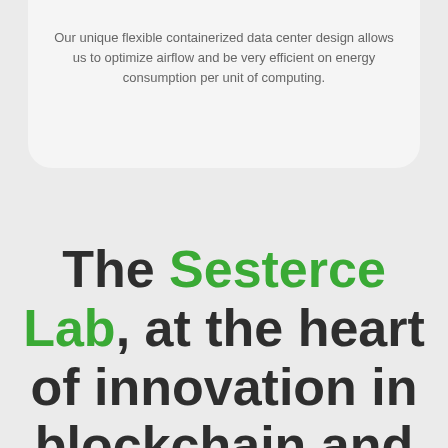Our unique flexible containerized data center design allows us to optimize airflow and be very efficient on energy consumption per unit of computing.
The Sesterce Lab, at the heart of innovation in blockchain and HPC datacenters